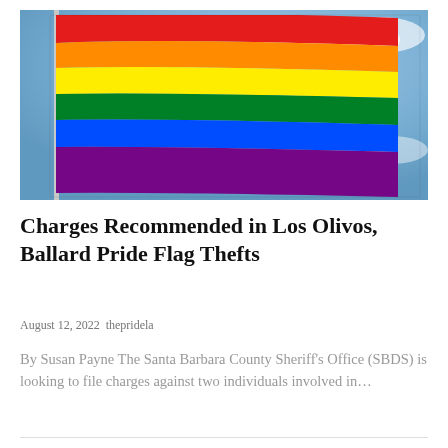[Figure (photo): Rainbow pride flag waving on a flagpole against a blue sky with clouds]
Charges Recommended in Los Olivos, Ballard Pride Flag Thefts
August 12, 2022 thepridela
By Susan Payne The Santa Barbara County Sheriff's Office (SBDS) is looking to file charges against two individuals involved in...